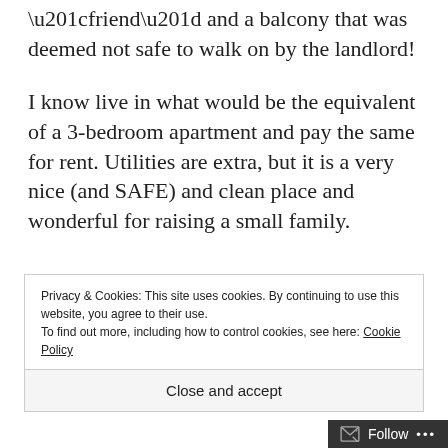“friend” and a balcony that was deemed not safe to walk on by the landlord!
I know live in what would be the equivalent of a 3-bedroom apartment and pay the same for rent. Utilities are extra, but it is a very nice (and SAFE) and clean place and wonderful for raising a small family.
Privacy & Cookies: This site uses cookies. By continuing to use this website, you agree to their use.
To find out more, including how to control cookies, see here: Cookie Policy
Close and accept
Follow